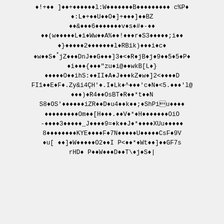Corrupted/encoded binary text content displayed as replacement characters and mixed ASCII symbols across multiple lines